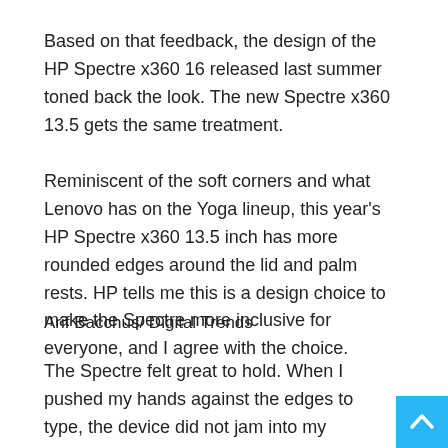Based on that feedback, the design of the HP Spectre x360 16 released last summer toned back the look. The new Spectre x360 13.5 gets the same treatment.
Reminiscent of the soft corners and what Lenovo has on the Yoga lineup, this year's HP Spectre x360 13.5 inch has more rounded edges around the lid and palm rests. HP tells me this is a design choice to make the Spectre more inclusive for everyone, and I agree with the choice.
Arif Bacchus/ Digital Trends
The Spectre felt great to hold. When I pushed my hands against the edges to type, the device did not jam into my palms. This 2-in-1 made my hands feel quite relaxed, even when flipping it between the various modes of use.